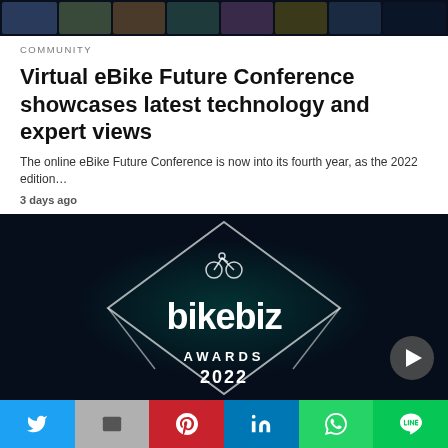[Figure (screenshot): Top banner showing thumbnail images of cyclists/conference participants on dark background]
COMMUNITY
Virtual eBike Future Conference showcases latest technology and expert views
The online eBike Future Conference is now into its fourth year, as the 2022 edition…
3 days ago
[Figure (photo): Bikebiz Awards 2022 logo on dark background with diamond shape outline and cyclist icon, with play button]
[Figure (screenshot): Social sharing bar with Twitter, Gmail, Pinterest, LinkedIn, WhatsApp, and Line buttons]